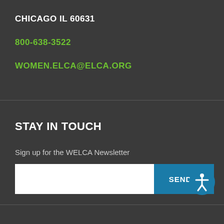CHICAGO IL 60631
800-638-3522
WOMEN.ELCA@ELCA.ORG
STAY IN TOUCH
Sign up for the WELCA Newsletter
SEND +